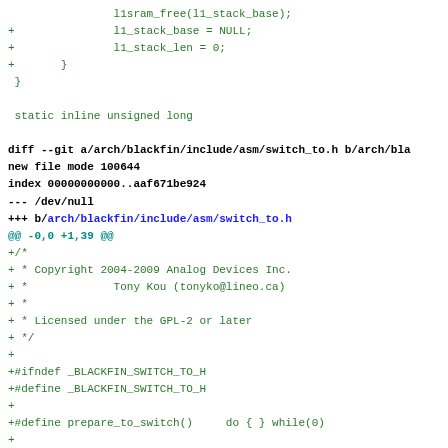Code diff showing git patch for arch/blackfin/include/asm/switch_to.h